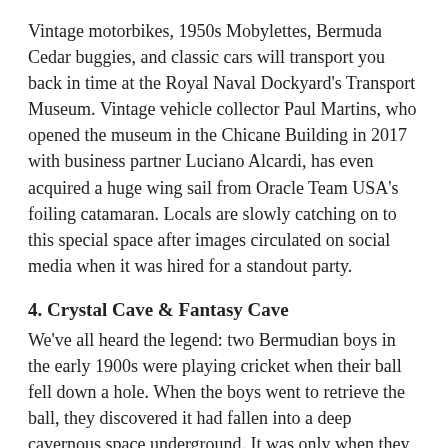Vintage motorbikes, 1950s Mobylettes, Bermuda Cedar buggies, and classic cars will transport you back in time at the Royal Naval Dockyard's Transport Museum. Vintage vehicle collector Paul Martins, who opened the museum in the Chicane Building in 2017 with business partner Luciano Alcardi, has even acquired a huge wing sail from Oracle Team USA's foiling catamaran. Locals are slowly catching on to this special space after images circulated on social media when it was hired for a standout party.
4. Crystal Cave & Fantasy Cave
We've all heard the legend: two Bermudian boys in the early 1900s were playing cricket when their ball fell down a hole. When the boys went to retrieve the ball, they discovered it had fallen into a deep cavernous space underground. It was only when they descended into the hole that they understood the significance of their find, which we know today as Crystal Caves. For those who have visited before, it is no surprise that Crystal Caves have attracted famous visitors for over a century,